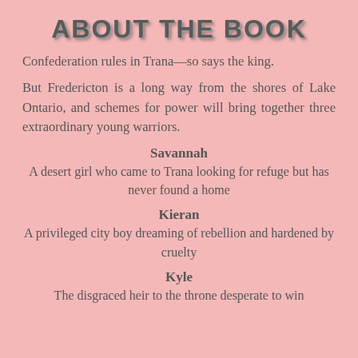ABOUT THE BOOK
Confederation rules in Trana—so says the king.
But Fredericton is a long way from the shores of Lake Ontario, and schemes for power will bring together three extraordinary young warriors.
Savannah
A desert girl who came to Trana looking for refuge but has never found a home
Kieran
A privileged city boy dreaming of rebellion and hardened by cruelty
Kyle
The disgraced heir to the throne desperate to win